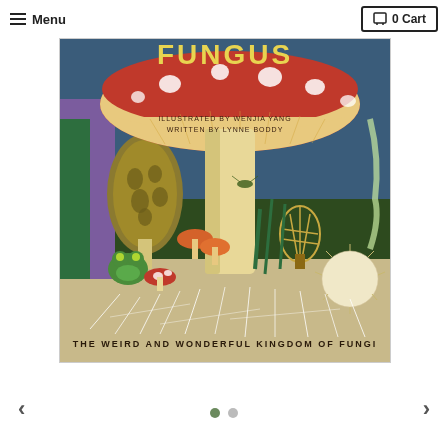☰ Menu   🛒 0 Cart
[Figure (illustration): Book cover of 'Fungus: The Weird and Wonderful Kingdom of Fungi', illustrated by Wenjia Yang, written by Lynne Boddy. The cover features colorful illustrated mushrooms including a large red-capped mushroom with white spots, a morel mushroom, a cage fungus, a dandelion-like puffball, and small orange mushrooms. A cartoon frog sits among the mushrooms on a forest floor with mycelium roots visible. The background shows purple and green plants and a night sky.]
< (left arrow navigation) • (active dot) ○ (inactive dot) > (right arrow navigation)